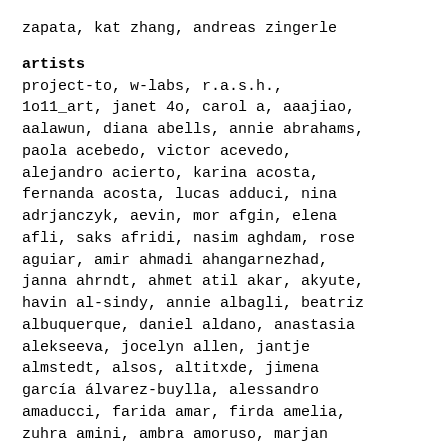zapata, kat zhang, andreas zingerle
artists
project-to, w-labs, r.a.s.h., 1o11_art, janet 4o, carol a, aaajiao, aalawun, diana abells, annie abrahams, paola acebedo, victor acevedo, alejandro acierto, karina acosta, fernanda acosta, lucas adduci, nina adrjanczyk, aevin, mor afgin, elena afli, saks afridi, nasim aghdam, rose aguiar, amir ahmadi ahangarnezhad, janna ahrndt, ahmet atil akar, akyute, havin al-sindy, annie albagli, beatriz albuquerque, daniel aldano, anastasia alekseeva, jocelyn allen, jantje almstedt, alsos, altitxde, jimena garcía álvarez-buylla, alessandro amaducci, farida amar, firda amelia, zuhra amini, ambra amoruso, marjan